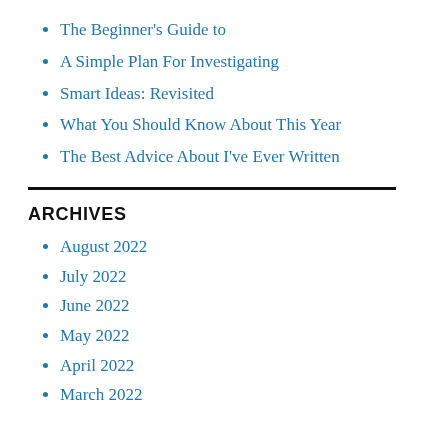The Beginner's Guide to
A Simple Plan For Investigating
Smart Ideas: Revisited
What You Should Know About This Year
The Best Advice About I've Ever Written
ARCHIVES
August 2022
July 2022
June 2022
May 2022
April 2022
March 2022